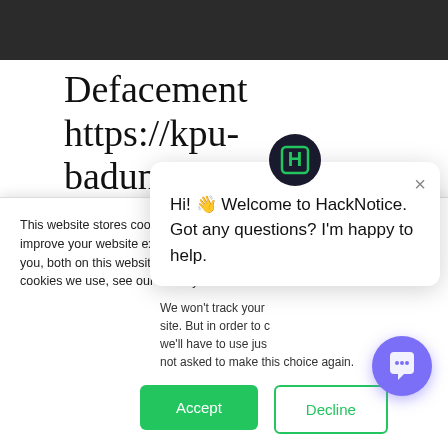[Figure (screenshot): Dark navigation bar at top of webpage]
Defacement https://kpu-badungkab.go.id
HackNotice is a service that notices trends and patterns in publicly available data so as to identify...
This website stores cookies on your computer. These are used to improve your website experience you, both on this website and through cookies we use, see our Privacy P...
We won't track your site. But in order to c we'll have to use jus not asked to make this choice again.
Hi! 👋 Welcome to HackNotice. Got any questions? I'm happy to help.
Accept
Decline